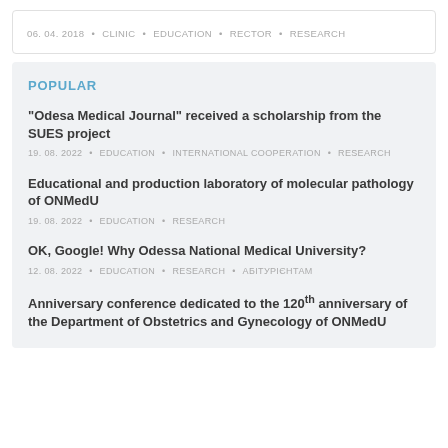06. 04. 2018 • CLINIC • EDUCATION • RECTOR • RESEARCH
POPULAR
"Odesa Medical Journal" received a scholarship from the SUES project
19. 08. 2022 • EDUCATION • INTERNATIONAL COOPERATION • RESEARCH
Educational and production laboratory of molecular pathology of ONMedU
19. 08. 2022 • EDUCATION • RESEARCH
OK, Google! Why Odessa National Medical University?
12. 08. 2022 • EDUCATION • RESEARCH • АБІТУРІЄНТАМ
Anniversary conference dedicated to the 120th anniversary of the Department of Obstetrics and Gynecology of ONMedU